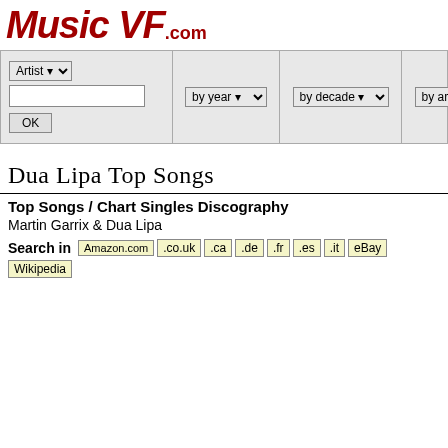MusicVF.com
[Figure (screenshot): Navigation bar with Artist search dropdown, text input, OK button, by year dropdown, by decade dropdown, by artist dropdown, and Contact us / Facebook like section]
Dua Lipa Top Songs
Top Songs / Chart Singles Discography
Martin Garrix & Dua Lipa
Search in Amazon.com .co.uk .ca .de .fr .es .it eBay Wikipedia